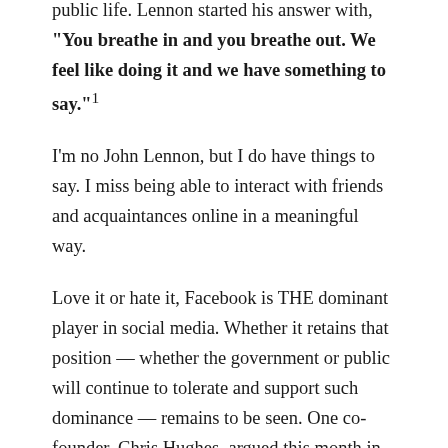public life. Lennon started his answer with, "You breathe in and you breathe out. We feel like doing it and we have something to say."1
I'm no John Lennon, but I do have things to say. I miss being able to interact with friends and acquaintances online in a meaningful way.
Love it or hate it, Facebook is THE dominant player in social media. Whether it retains that position — whether the government or public will continue to tolerate and support such dominance — remains to be seen. One co-founder, Chris Hughes, argued this month in the New York Times that it's time to break up Facebook. There is investigating. There is talk of fining, regulating, legislating and litigating. Facebook is facing intense